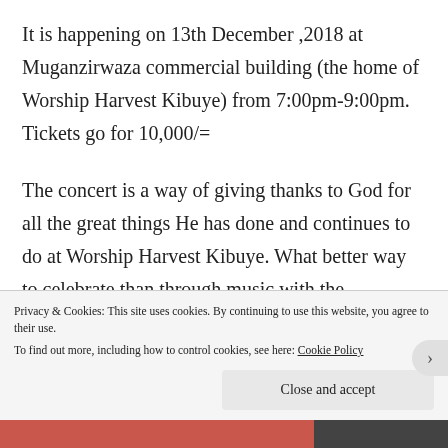It is happening on 13th December ,2018 at Muganzirwaza commercial building (the home of Worship Harvest Kibuye) from 7:00pm-9:00pm. Tickets go for 10,000/=
The concert is a way of giving thanks to God for all the great things He has done and continues to do at Worship Harvest Kibuye. What better way to celebrate than through music with the
Privacy & Cookies: This site uses cookies. By continuing to use this website, you agree to their use.
To find out more, including how to control cookies, see here: Cookie Policy